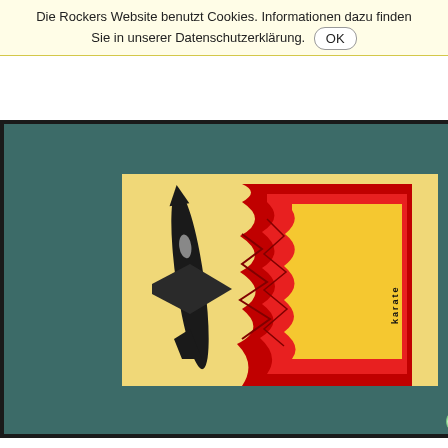Die Rockers Website benutzt Cookies. Informationen dazu finden Sie in unserer Datenschutzerklärung. OK
Karate
1×Tape · Album
[Figure (photo): Karate album cassette tape cover showing a jet/aircraft outline on the left in dark tones and a flame/wave pattern in red and yellow on the right, with 'karate' text vertically on the right side. The cassette is displayed against a teal/dark green background with a black border frame.]
16,90 €